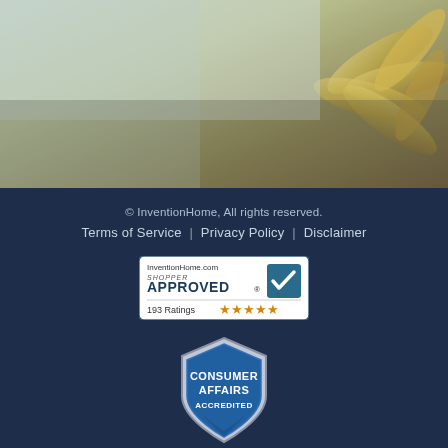[Figure (photo): Decorative photo of what appears to be gold/silver ribbons or flower petals with a muted golden/grey toned overlay, used as a page header background image]
© InventionHome, All rights reserved.
Terms of Service  |  Privacy Policy  |  Disclaimer
[Figure (logo): Shopper Approved badge for InventionHome.com showing 193 Ratings with 5 gold stars]
[Figure (logo): Consumer Affairs Accredited shield badge in blue and silver]
[Figure (logo): BBB Accredited Business badge with blue and white design]